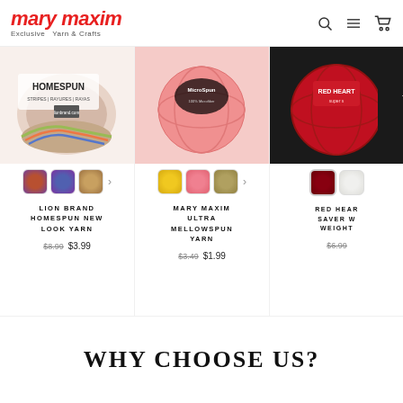[Figure (logo): Mary Maxim logo - red italic text with tagline 'Exclusive Yarn & Crafts']
[Figure (photo): Lion Brand Homespun New Look Yarn product image - colorful striped yarn skein]
[Figure (photo): Mary Maxim Ultra Mellowspun Yarn product image - pink yarn ball]
[Figure (photo): Red Heart Super Saver Yarn product image - red yarn]
LION BRAND HOMESPUN NEW LOOK YARN
$8.99 $3.99
MARY MAXIM ULTRA MELLOWSPUN YARN
$3.49 $1.99
RED HEART SAVER WEIGHT
$6.99
WHY CHOOSE US?